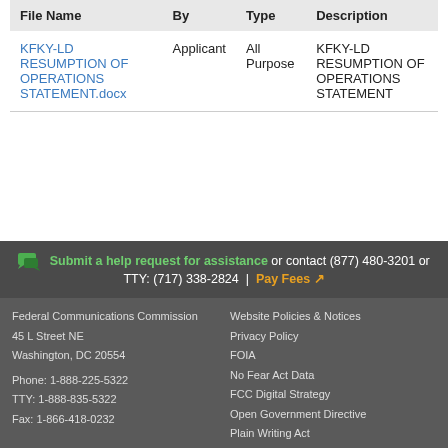| File Name | By | Type | Description |
| --- | --- | --- | --- |
| KFKY-LD RESUMPTION OF OPERATIONS STATEMENT.docx | Applicant | All Purpose | KFKY-LD RESUMPTION OF OPERATIONS STATEMENT |
Submit a help request for assistance or contact (877) 480-3201 or TTY: (717) 338-2824 | Pay Fees
Federal Communications Commission
45 L Street NE
Washington, DC 20554

Phone: 1-888-225-5322
TTY: 1-888-835-5322
Fax: 1-866-418-0232

Website Policies & Notices
Privacy Policy
FOIA
No Fear Act Data
FCC Digital Strategy
Open Government Directive
Plain Writing Act